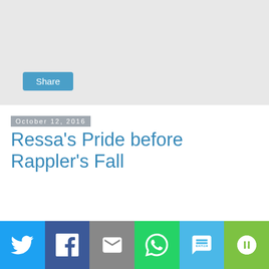[Figure (other): Gray banner area with a Share button]
October 12, 2016
Ressa's Pride before Rappler's Fall
[Figure (other): Social sharing bar with Twitter, Facebook, Email, WhatsApp, SMS, and More buttons]